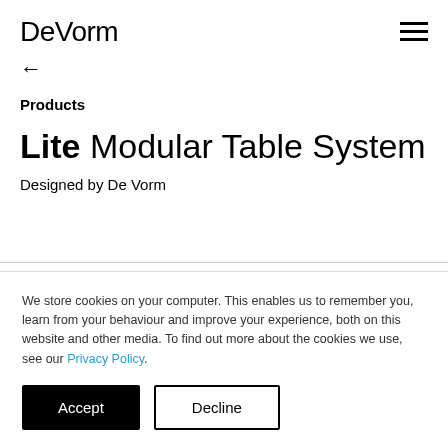DeVorm
←
Products
Lite Modular Table System
Designed by De Vorm
We store cookies on your computer. This enables us to remember you, learn from your behaviour and improve your experience, both on this website and other media. To find out more about the cookies we use, see our Privacy Policy.
Accept
Decline